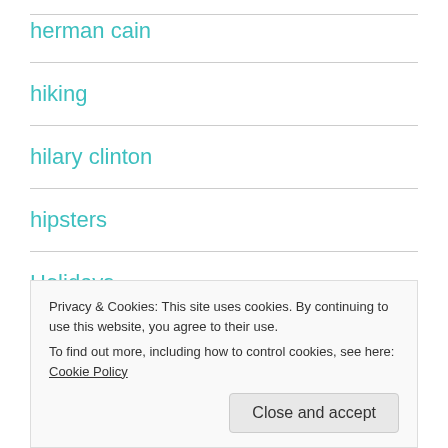herman cain
hiking
hilary clinton
hipsters
Holidays
homicide (partial)
Privacy & Cookies: This site uses cookies. By continuing to use this website, you agree to their use.
To find out more, including how to control cookies, see here: Cookie Policy
Close and accept